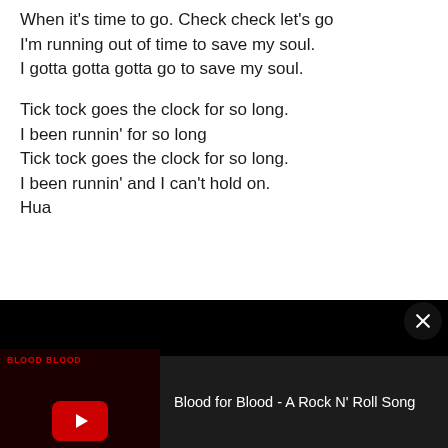When it's time to go. Check check let's go
I'm running out of time to save my soul.
I gotta gotta gotta go to save my soul.

Tick tock goes the clock for so long.
I been runnin' for so long
Tick tock goes the clock for so long.
I been runnin' and I can't hold on.
Hua
[Figure (screenshot): YouTube video card overlay at bottom of page showing 'Blood for Blood - A Rock N' Roll Song' with a red play button thumbnail on dark background, and an X close button]